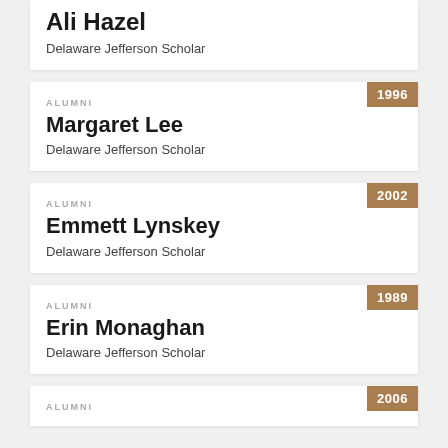Ali Hazel
Delaware Jefferson Scholar
ALUMNI
Margaret Lee
Delaware Jefferson Scholar
ALUMNI
Emmett Lynskey
Delaware Jefferson Scholar
ALUMNI
Erin Monaghan
Delaware Jefferson Scholar
ALUMNI